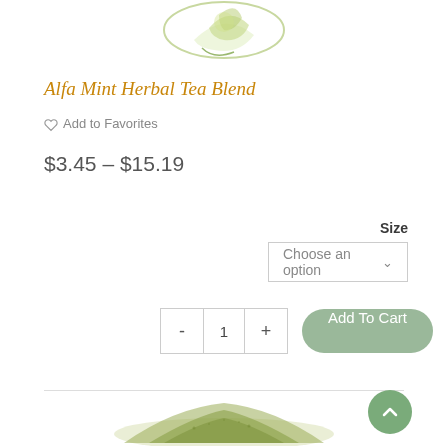[Figure (illustration): Decorative herbal tea illustration with green swirls and leaves at the top of the page]
Alfa Mint Herbal Tea Blend
Add to Favorites
$3.45 – $15.19
Size
Choose an option
- 1 + Add To Cart
[Figure (photo): Green powder (matcha or herbal tea powder) pile photographed from above at the bottom of the page]
[Figure (other): Back to top button with upward chevron arrow, green circular button on bottom right]